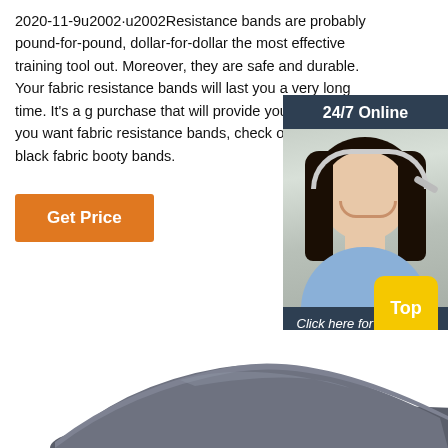2020-11-9u2002 u2002Resistance bands are probably pound-for-pound, dollar-for-dollar the most effective training tool out. Moreover, they are safe and durable. Your fabric resistance bands will last you a very long time. It's a good purchase that will provide you a ton of value. If you want fabric resistance bands, check out pink and black fabric booty bands.
[Figure (infographic): Customer service chat widget with '24/7 Online' header, photo of woman with headset, 'Click here for free chat!' text, and orange QUOTATION button]
Get Price
Click here for free chat !
QUOTATION
Top
[Figure (photo): Gray/dark yoga mat or exercise mat shown from an angle at the bottom of the page]